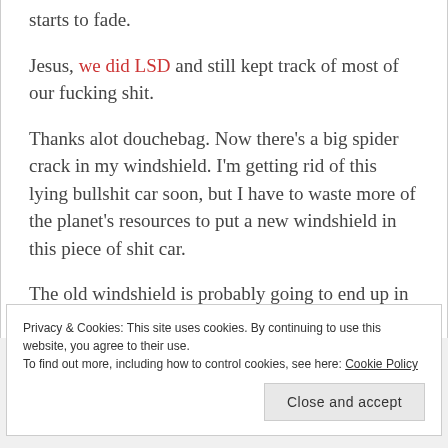starts to fade.
Jesus, we did LSD and still kept track of most of our fucking shit.
Thanks alot douchebag. Now there's a big spider crack in my windshield. I'm getting rid of this lying bullshit car soon, but I have to waste more of the planet's resources to put a new windshield in this piece of shit car.
The old windshield is probably going to end up in a landfill. I'll bet its final resting place will be right next to one fucking purple shoe.
Privacy & Cookies: This site uses cookies. By continuing to use this website, you agree to their use.
To find out more, including how to control cookies, see here: Cookie Policy
Close and accept